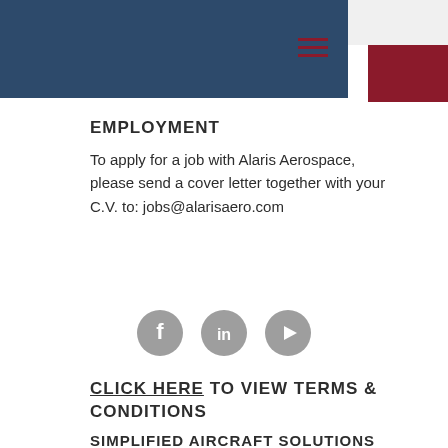[Figure (other): Navigation header with dark blue background bar, white box and red box in top right corner, and hamburger menu icon in dark red]
EMPLOYMENT
To apply for a job with Alaris Aerospace, please send a cover letter together with your C.V. to: jobs@alarisaero.com
[Figure (other): Three grey circular social media icons: Facebook, LinkedIn, YouTube]
CLICK HERE TO VIEW TERMS & CONDITIONS
SIMPLIFIED AIRCRAFT SOLUTIONS